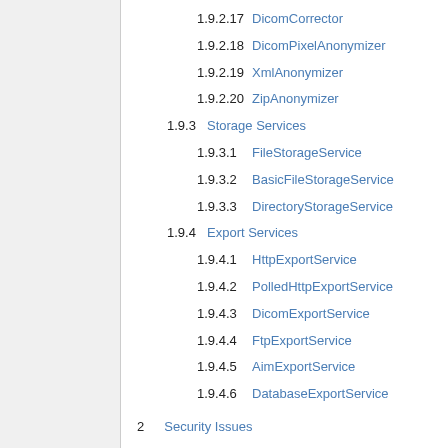1.9.2.17 DicomCorrector
1.9.2.18 DicomPixelAnonymizer
1.9.2.19 XmlAnonymizer
1.9.2.20 ZipAnonymizer
1.9.3 Storage Services
1.9.3.1 FileStorageService
1.9.3.2 BasicFileStorageService
1.9.3.3 DirectoryStorageService
1.9.4 Export Services
1.9.4.1 HttpExportService
1.9.4.2 PolledHttpExportService
1.9.4.3 DicomExportService
1.9.4.4 FtpExportService
1.9.4.5 AimExportService
1.9.4.6 DatabaseExportService
2 Security Issues
3 Notes